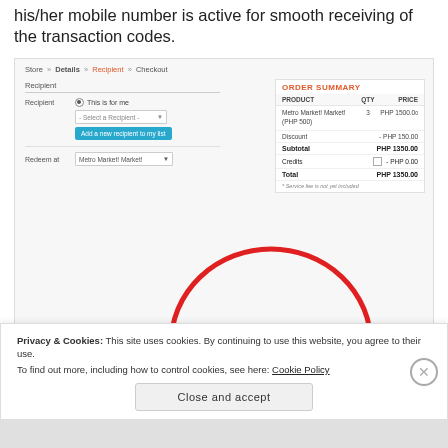his/her mobile number is active for smooth receiving of the transaction codes.
[Figure (screenshot): Screenshot of an online store checkout page showing breadcrumb navigation (Store > Details > Recipient > Checkout), a Recipient form with radio button 'This is for me', a dropdown 'Select a Recipient', an 'Add a new recipient to my list' button, a 'Redeem at' dropdown with 'Metro Market! Market!', and an Order Summary panel showing: PRODUCT: Metro Market! Market! (PHP 500), QTY: 3, PRICE: PHP 1500.00; Discount: - PHP 150.00; Subtotal: PHP 1350.00; Credits: - PHP 0.00; Total: PHP 1350.00; note: * Service fee is not yet included. The Order Summary panel is circled in red.]
Privacy & Cookies: This site uses cookies. By continuing to use this website, you agree to their use.
To find out more, including how to control cookies, see here: Cookie Policy
Close and accept